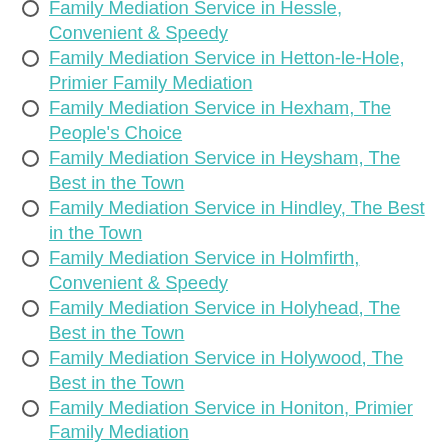Family Mediation Service in Thames, Services You can Trust
Family Mediation Service in Hessle, Convenient & Speedy
Family Mediation Service in Hetton-le-Hole, Primier Family Mediation
Family Mediation Service in Hexham, The People's Choice
Family Mediation Service in Heysham, The Best in the Town
Family Mediation Service in Hindley, The Best in the Town
Family Mediation Service in Holmfirth, Convenient & Speedy
Family Mediation Service in Holyhead, The Best in the Town
Family Mediation Service in Holywood, The Best in the Town
Family Mediation Service in Honiton, Primier Family Mediation
Family Mediation Service in Horley, The People's Choice
Family Mediation Service in Horsforth, Make Families Happier
Family Mediation Service in Horwich,